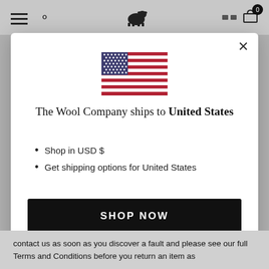[Figure (screenshot): Website navigation bar with hamburger menu, search icon, logo (cow/sheep icon), and cart icon with badge showing 0]
[Figure (illustration): US flag icon — stars and stripes]
The Wool Company ships to United States
Shop in USD $
Get shipping options for United States
SHOP NOW
CHANGE SHIPPING COUNTRY
contact us as soon as you discover a fault and please see our full Terms and Conditions before you return an item as